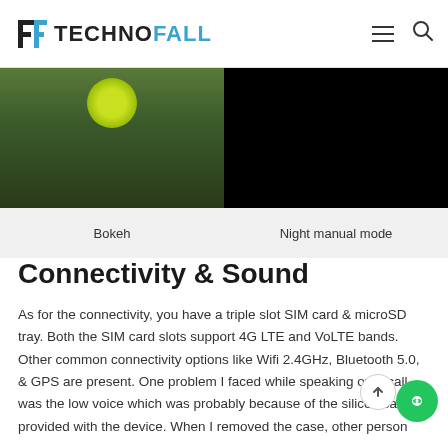TechnoFall
[Figure (photo): Two side-by-side smartphone camera sample photos: left shows a green ball (bokeh effect) on a wooden floor, right shows a dark/black night manual mode shot]
Bokeh | Night manual mode
Connectivity & Sound
As for the connectivity, you have a triple slot SIM card & microSD tray. Both the SIM card slots support 4G LTE and VoLTE bands. Other common connectivity options like Wifi 2.4GHz, Bluetooth 5.0, & GPS are present. One problem I faced while speaking over call was the low voice which was probably because of the silicon case provided with the device. When I removed the case, other person